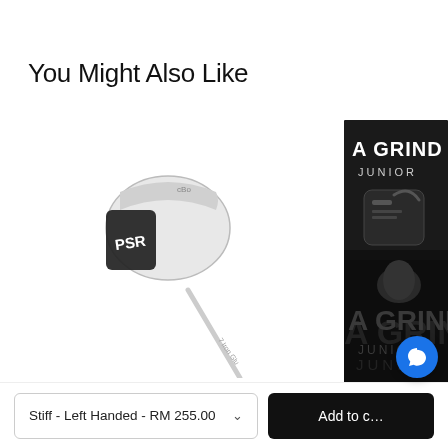You Might Also Like
[Figure (photo): A silver/chrome golf iron club head with black PSR branding, angled diagonally on white background]
[Figure (photo): Black and white product image of a golf bag with 'A GRIND JUNIOR' text in bold white letters, shown twice (top and bottom)]
Stiff - Left Handed - RM 255.00
Add to cart